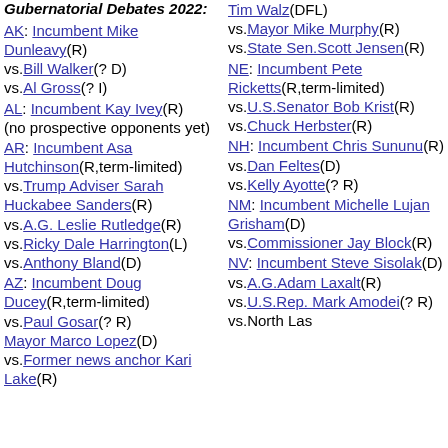Gubernatorial Debates 2022:
AK: Incumbent Mike Dunleavy(R) vs.Bill Walker(? D) vs.Al Gross(? I)
AL: Incumbent Kay Ivey(R) (no prospective opponents yet)
AR: Incumbent Asa Hutchinson(R,term-limited) vs.Trump Adviser Sarah Huckabee Sanders(R) vs.A.G. Leslie Rutledge(R) vs.Ricky Dale Harrington(L) vs.Anthony Bland(D)
AZ: Incumbent Doug Ducey(R,term-limited) vs.Paul Gosar(? R) Mayor Marco Lopez(D) vs.Former news anchor Kari Lake(R)
Tim Walz(DFL) vs.Mayor Mike Murphy(R) vs.State Sen.Scott Jensen(R)
NE: Incumbent Pete Ricketts(R,term-limited) vs.U.S.Senator Bob Krist(R) vs.Chuck Herbster(R)
NH: Incumbent Chris Sununu(R) vs.Dan Feltes(D) vs.Kelly Ayotte(? R)
NM: Incumbent Michelle Lujan Grisham(D) vs.Commissioner Jay Block(R)
NV: Incumbent Steve Sisolak(D) vs.A.G.Adam Laxalt(R) vs.U.S.Rep. Mark Amodei(? R) vs.North Las